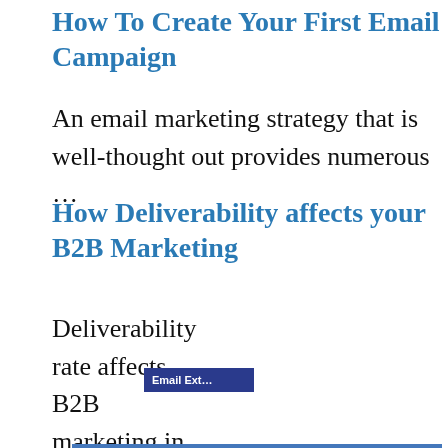How To Create Your First Email Campaign
An email marketing strategy that is well-thought out provides numerous …
How Deliverability affects your B2B Marketing
Deliverability rate affects B2B marketing in diverse…
This website uses cookies to ensure you get the best experience on our website.
Learn more
Got it!
Email Ext…